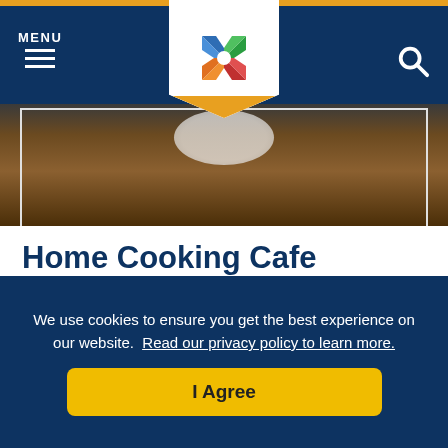MENU (hamburger icon) | Logo | Search icon
[Figure (photo): Partial photo of food/plate on a wooden table surface, cropped at top]
Home Cooking Cafe
580-225-4770
Clarion Inn Hotel
Elk City, OK 73644
If you're looking for delicious food at a reasonable price, head to the Home Cooking Cafe in Elk City. Specializing in...
We use cookies to ensure you get the best experience on our website. Read our privacy policy to learn more.
I Agree